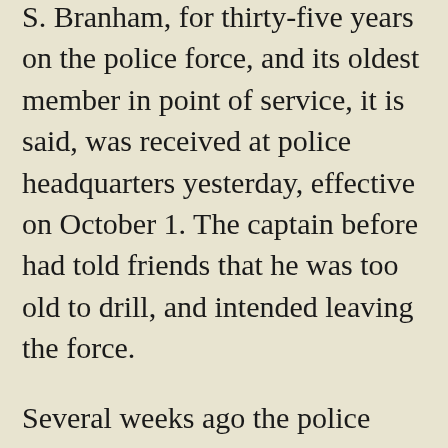S. Branham, for thirty-five years on the police force, and its oldest member in point of service, it is said, was received at police headquarters yesterday, effective on October 1. The captain before had told friends that he was too old to drill, and intended leaving the force.
Several weeks ago the police raided the Cordova hotel and arrested several men who were charged with selling beer on Sunday. The liquor was sold only to